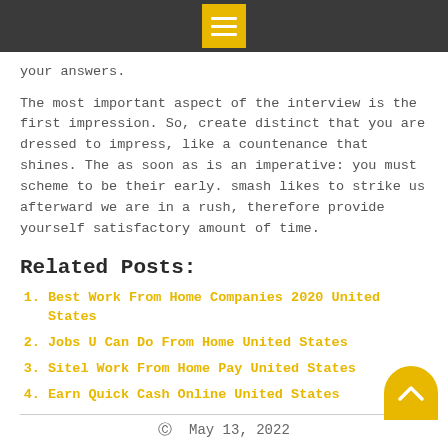Menu icon header bar
your answers.
The most important aspect of the interview is the first impression. So, create distinct that you are dressed to impress, like a countenance that shines. The as soon as is an imperative: you must scheme to be their early. smash likes to strike us afterward we are in a rush, therefore provide yourself satisfactory amount of time.
Related Posts:
Best Work From Home Companies 2020 United States
Jobs U Can Do From Home United States
Sitel Work From Home Pay United States
Earn Quick Cash Online United States
May 13, 2022